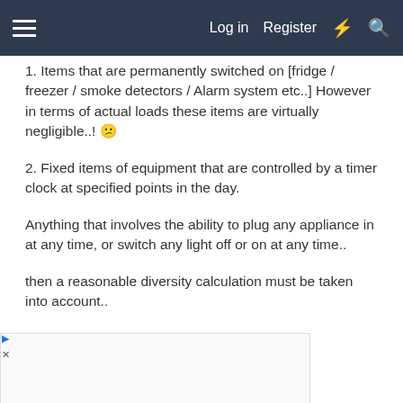Log in  Register
1. Items that are permanently switched on [fridge / freezer / smoke detectors / Alarm system etc..] However in terms of actual loads these items are virtually negligible..! 🙁
2. Fixed items of equipment that are controlled by a timer clock at specified points in the day.
Anything that involves the ability to plug any appliance in at any time, or switch any light off or on at any time..
then a reasonable diversity calculation must be taken into account..
[Figure (screenshot): Advertisement banner showing a store with checkmark for In-store shopping, X marks for In-store pickup and Delivery, with a Kmart-style logo and navigation arrow icon]